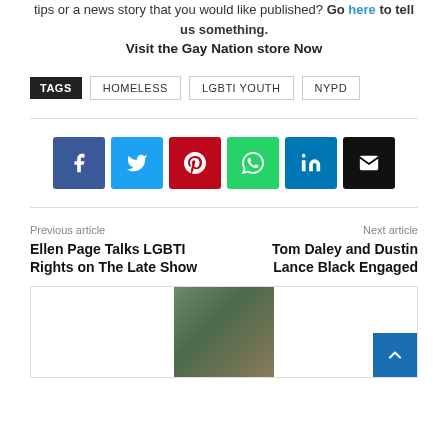tips or a news story that you would like published? Go here to tell us something.
Visit the Gay Nation store Now
TAGS: Homeless, LGBTI YOUTH, NYPD
[Figure (other): Social share buttons: Facebook, Twitter, Pinterest, WhatsApp, LinkedIn, Email]
Previous article
Ellen Page Talks LGBTI Rights on The Late Show
Next article
Tom Daley and Dustin Lance Black Engaged
[Figure (photo): Thumbnail image of article at bottom of page]